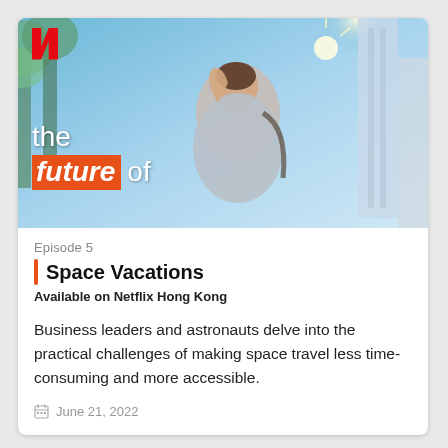[Figure (photo): Netflix branded thumbnail for 'The Future Of' documentary series. Shows a person looking upward at futuristic city buildings. Netflix N logo in top-left. Text overlay reads 'the future of' with 'future' on orange background.]
Episode 5
Space Vacations
Available on Netflix Hong Kong
Business leaders and astronauts delve into the practical challenges of making space travel less time-consuming and more accessible.
June 21, 2022